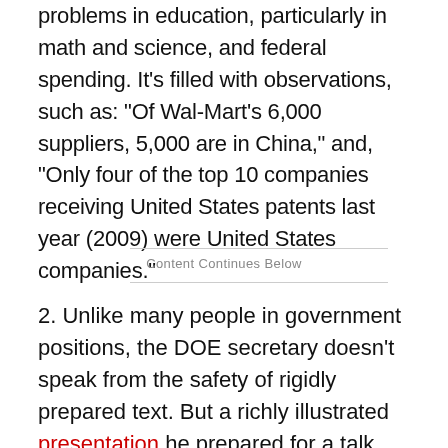problems in education, particularly in math and science, and federal spending. It's filled with observations, such as: "Of Wal-Mart's 6,000 suppliers, 5,000 are in China," and, "Only four of the top 10 companies receiving United States patents last year (2009) were United States companies."
Content Continues Below
2. Unlike many people in government positions, the DOE secretary doesn't speak from the safety of rigidly prepared text. But a richly illustrated presentation he prepared for a talk last fall at the National Press Club outlined his concerns